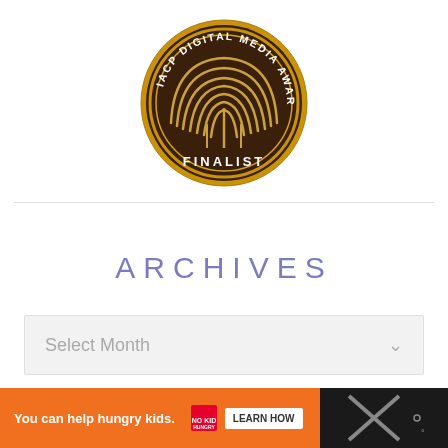[Figure (logo): IACP Digital Media Awards Finalist badge — circular brown/gold medallion with fingerprint arch design and text 'IACP DIGITAL MEDIA AWARDS' around the top and 'FINALIST' at the bottom]
ARCHIVES
Select Month
[Figure (screenshot): Orange advertisement bar at bottom: 'You can help hungry kids.' with No Kid Hungry logo and 'LEARN HOW' button, with X close button and dark right panel]